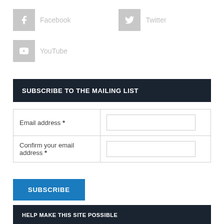Facebook
Twitter
YouTube
SUBSCRIBE TO THE MAILING LIST
|  |  |
| --- | --- |
| Email address * |  |
| Confirm your email address * |  |
SUBSCRIBE
HELP MAKE THIS SITE POSSIBLE